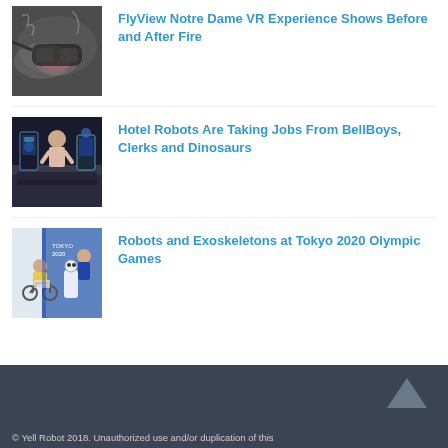FlyView Notre Dame VR Experience Shows Before and After Fire
[Figure (photo): Person wearing VR headset, smoky atmospheric image]
Hotel Robots Are Taking Jobs From BellBoys, Clerks and Dinosaurs
[Figure (photo): Hotel lobby with robot staff at reception desk]
Robots and Exoskeletons at Tokyo 2020 Olympic Games
[Figure (photo): Person in wheelchair with robot at Tokyo 2020 event]
© Yell Robot 2018. Unauthorized use and/or duplication of this